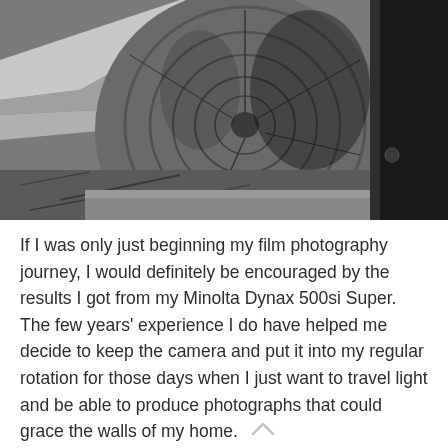[Figure (photo): Black and white close-up photograph of the end grain of a wooden log or fence post, with another dark wooden post visible on the right side. The background shows dry leaves and debris on the ground.]
If I was only just beginning my film photography journey, I would definitely be encouraged by the results I got from my Minolta Dynax 500si Super. The few years' experience I do have helped me decide to keep the camera and put it into my regular rotation for those days when I just want to travel light and be able to produce photographs that could grace the walls of my home.